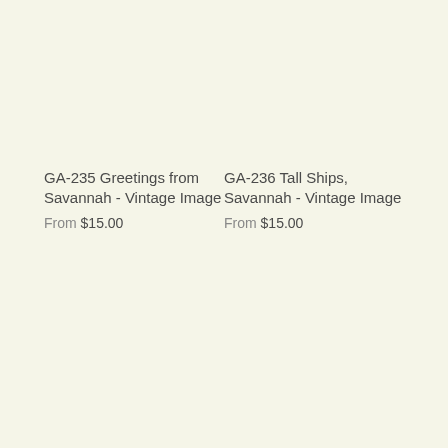GA-235 Greetings from Savannah - Vintage Image
From $15.00
GA-236 Tall Ships, Savannah - Vintage Image
From $15.00